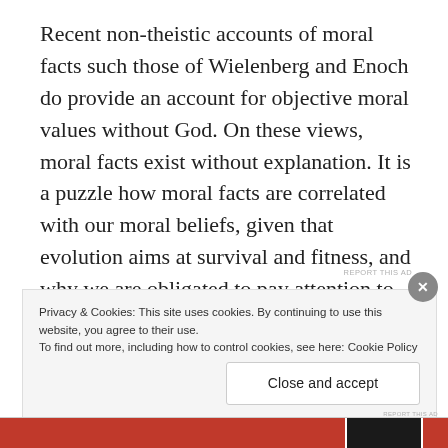Recent non-theistic accounts of moral facts such those of Wielenberg and Enoch do provide an account for objective moral values without God. On these views, moral facts exist without explanation. It is a puzzle how moral facts are correlated with our moral beliefs, given that evolution aims at survival and fitness, and why we are obligated to pay attention to these moral facts is unclear.
REPORT THIS AD
Privacy & Cookies: This site uses cookies. By continuing to use this website, you agree to their use.
To find out more, including how to control cookies, see here: Cookie Policy
Close and accept